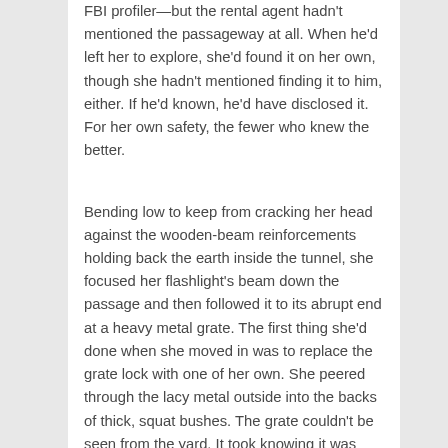FBI profiler—but the rental agent hadn't mentioned the passageway at all. When he'd left her to explore, she'd found it on her own, though she hadn't mentioned finding it to him, either. If he'd known, he'd have disclosed it. For her own safety, the fewer who knew the better.
Bending low to keep from cracking her head against the wooden-beam reinforcements holding back the earth inside the tunnel, she focused her flashlight's beam down the passage and then followed it to its abrupt end at a heavy metal grate. The first thing she'd done when she moved in was to replace the grate lock with one of her own. She peered through the lacy metal outside into the backs of thick, squat bushes. The grate couldn't be seen from the yard. It took knowing it was there behind the bushes to find it.
She carefully checked the grate's internal perimeter. The chewing gum embedded with a